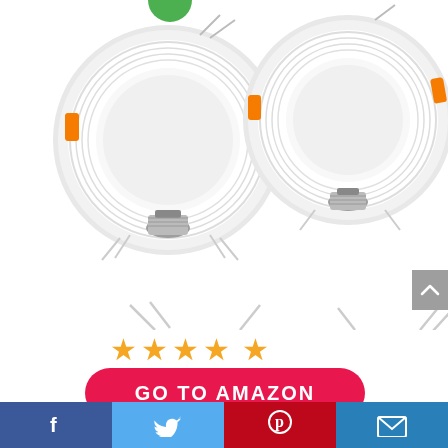[Figure (photo): Four white LED recessed light retrofit kits arranged in a 2x2 grid, each showing a round white dome light fixture with orange mounting clips and a silver E26 screw base socket beneath]
[Figure (other): Four gold/orange star rating icons indicating approximately 4 out of 5 stars]
[Figure (other): Red rounded rectangle button with white bold text GO TO AMAZON]
[Figure (other): Social sharing footer bar with Facebook (dark blue), Twitter (light blue), Pinterest (red), and Email (blue) icons]
[Figure (other): Gray scroll-to-top button on right side with upward chevron arrow]